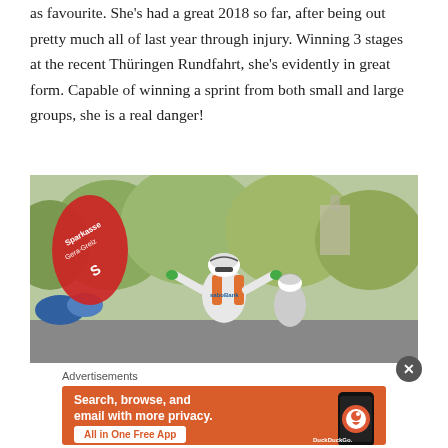as favourite. She's had a great 2018 so far, after being out pretty much all of last year through injury. Winning 3 stages at the recent Thüringen Rundfahrt, she's evidently in great form. Capable of winning a sprint from both small and large groups, she is a real danger!
[Figure (photo): A cyclist in a white and orange jersey with arms raised in victory, crossing a finish line at a race with a red Sparkasse Gera-Greiz banner visible, crowds and green trees in the background.]
Advertisements
[Figure (other): DuckDuckGo advertisement banner with orange background showing text: Search, browse, and email with more privacy. All in One Free App. DuckDuckGo logo and phone mockup on the right.]